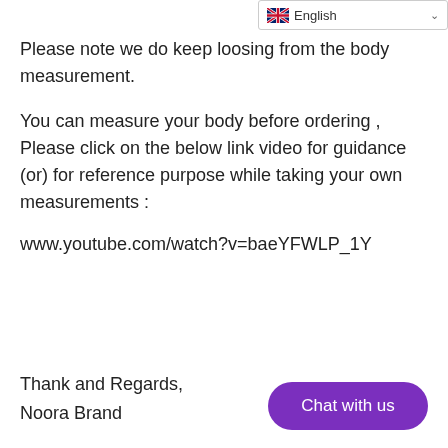English
Please note we do keep loosing from the body measurement.
You can measure your body before ordering , Please click on the below link video for guidance (or) for reference purpose while taking your own measurements :
www.youtube.com/watch?v=baeYFWLP_1Y
Thank and Regards,
Noora Brand
[Figure (other): Chat with us button - purple rounded rectangle button]